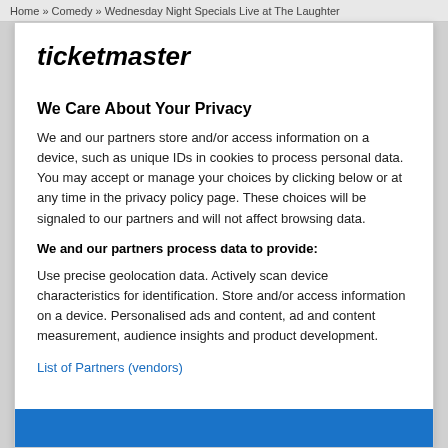Home » Comedy » Wednesday Night Specials Live at The Laughter
ticketmaster
We Care About Your Privacy
We and our partners store and/or access information on a device, such as unique IDs in cookies to process personal data. You may accept or manage your choices by clicking below or at any time in the privacy policy page. These choices will be signaled to our partners and will not affect browsing data.
We and our partners process data to provide:
Use precise geolocation data. Actively scan device characteristics for identification. Store and/or access information on a device. Personalised ads and content, ad and content measurement, audience insights and product development.
List of Partners (vendors)